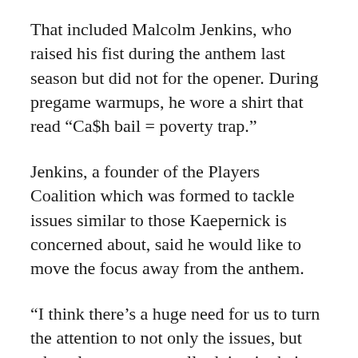That included Malcolm Jenkins, who raised his fist during the anthem last season but did not for the opener. During pregame warmups, he wore a shirt that read “Ca$h bail = poverty trap.”
Jenkins, a founder of the Players Coalition which was formed to tackle issues similar to those Kaepernick is concerned about, said he would like to move the focus away from the anthem.
“I think there’s a huge need for us to turn the attention to not only the issues, but what players are actually doing in their communities to promote change,” he said. “We’re trying to move past the rhetoric of what’s right or what’s wrong in terms of the anthem, and really focus on the systematic